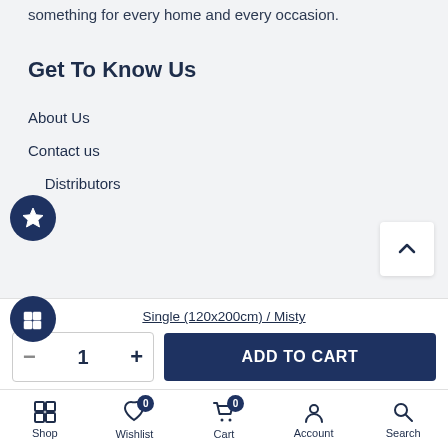something for every home and every occasion.
Get To Know Us
About Us
Contact us
Distributors
Single (120x200cm) / Misty
1
ADD TO CART
Shop  Wishlist  Cart  Account  Search